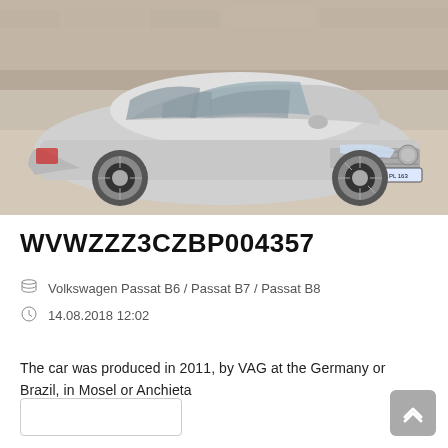[Figure (photo): Silver Volkswagen Passat B7 sedan photographed from front-right angle in an outdoor setting with stone wall background. German license plate reads WOB PL 163.]
WVWZZZ3CZBP004357
Volkswagen Passat B6 / Passat B7 / Passat B8
14.08.2018 12:02
The car was produced in 2011, by VAG at the Germany or Brazil, in Mosel or Anchieta